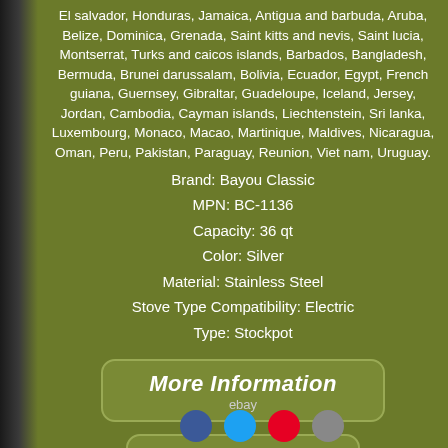El salvador, Honduras, Jamaica, Antigua and barbuda, Aruba, Belize, Dominica, Grenada, Saint kitts and nevis, Saint lucia, Montserrat, Turks and caicos islands, Barbados, Bangladesh, Bermuda, Brunei darussalam, Bolivia, Ecuador, Egypt, French guiana, Guernsey, Gibraltar, Guadeloupe, Iceland, Jersey, Jordan, Cambodia, Cayman islands, Liechtenstein, Sri lanka, Luxembourg, Monaco, Macao, Martinique, Maldives, Nicaragua, Oman, Peru, Pakistan, Paraguay, Reunion, Viet nam, Uruguay.
Brand: Bayou Classic
MPN: BC-1136
Capacity: 36 qt
Color: Silver
Material: Stainless Steel
Stove Type Compatibility: Electric
Type: Stockpot
[Figure (other): Button linking to more information on eBay with text 'More Information' and 'ebay' subtitle]
[Figure (other): Button linking to view price on eBay with text 'View Price' and 'ebay' subtitle]